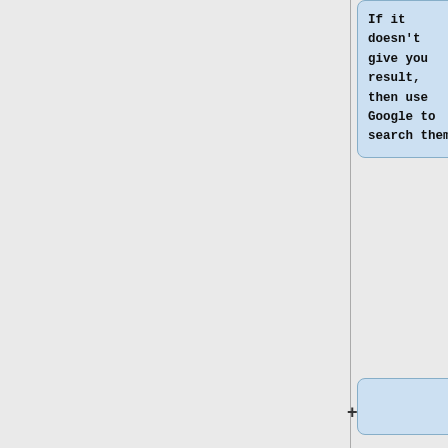If it doesn't give you result, then use Google to search them.
=== 5th Gen Core i7 Series ===
* mobile H-processor: [https://www.intel.com/content/dam/www/public/us/en/documents/datasheets/mobile 5th...